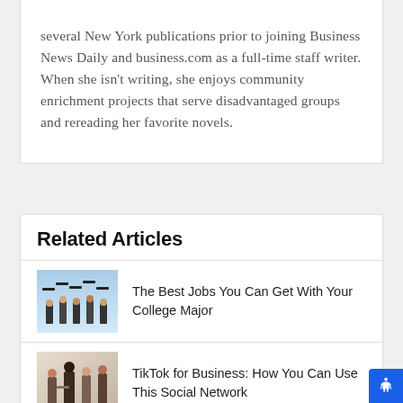several New York publications prior to joining Business News Daily and business.com as a full-time staff writer. When she isn't writing, she enjoys community enrichment projects that serve disadvantaged groups and rereading her favorite novels.
Related Articles
[Figure (photo): Graduates tossing caps in front of blue sky]
The Best Jobs You Can Get With Your College Major
[Figure (photo): Business people in an office setting]
TikTok for Business: How You Can Use This Social Network